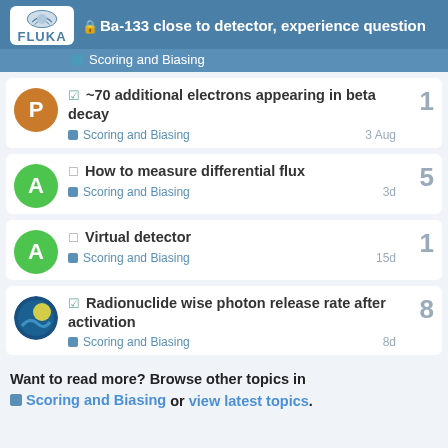Ba-133 close to detector, experience question — Scoring and Biasing
~70 additional electrons appearing in beta decay — Scoring and Biasing — 3 Aug — replies: 1
How to measure differential flux — Scoring and Biasing — 3d — replies: 5
Virtual detector — Scoring and Biasing — 15d — replies: 1
Radionuclide wise photon release rate after activation — Scoring and Biasing — 8d — replies: 8
Want to read more? Browse other topics in Scoring and Biasing or view latest topics.